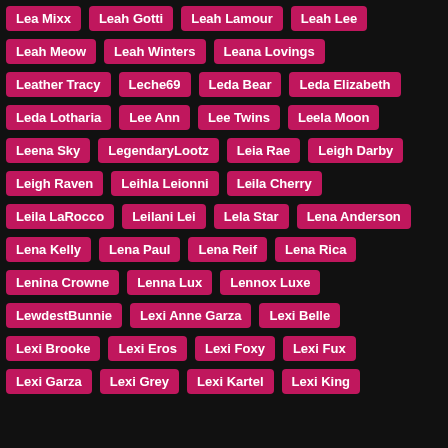Lea Mixx
Leah Gotti
Leah Lamour
Leah Lee
Leah Meow
Leah Winters
Leana Lovings
Leather Tracy
Leche69
Leda Bear
Leda Elizabeth
Leda Lotharia
Lee Ann
Lee Twins
Leela Moon
Leena Sky
LegendaryLootz
Leia Rae
Leigh Darby
Leigh Raven
Leihla Leionni
Leila Cherry
Leila LaRocco
Leilani Lei
Lela Star
Lena Anderson
Lena Kelly
Lena Paul
Lena Reif
Lena Rica
Lenina Crowne
Lenna Lux
Lennox Luxe
LewdestBunnie
Lexi Anne Garza
Lexi Belle
Lexi Brooke
Lexi Eros
Lexi Foxy
Lexi Fux
Lexi Garza
Lexi Grey
Lexi Kartel
Lexi King